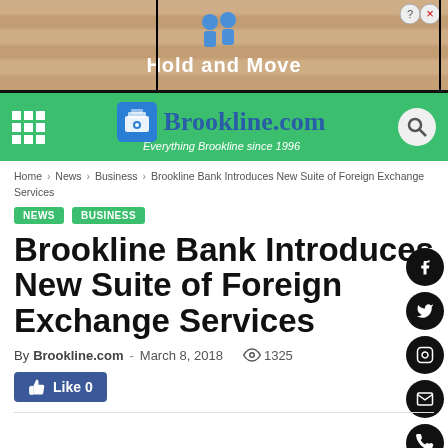[Figure (screenshot): Ad banner with 'Hold and Move' text on a wooden background with two figure icons]
Brookline.com — Everything Brookline since 1996
Home > News > Business > Brookline Bank Introduces New Suite of Foreign Exchange Services
NEWS   BUSINESS
Brookline Bank Introduces New Suite of Foreign Exchange Services
By Brookline.com - March 8, 2018  1325
Like 0